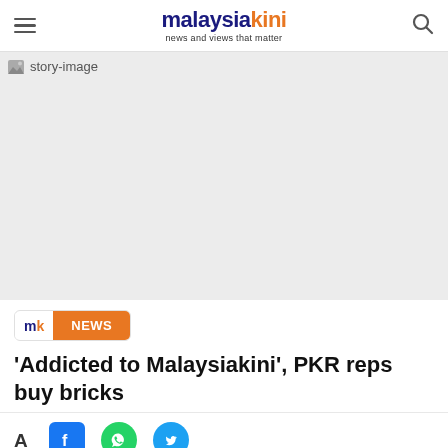malaysiakini — news and views that matter
[Figure (photo): Story image placeholder (grey background with broken image icon and 'story-image' alt text)]
mk NEWS
'Addicted to Malaysiakini', PKR reps buy bricks
A+ Facebook WhatsApp Twitter share icons